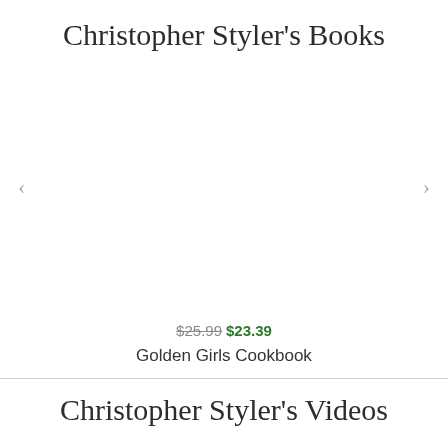Christopher Styler's Books
[Figure (other): Empty carousel area with left and right navigation arrows for book images]
$25.99 $23.39
Golden Girls Cookbook
Christopher Styler's Videos